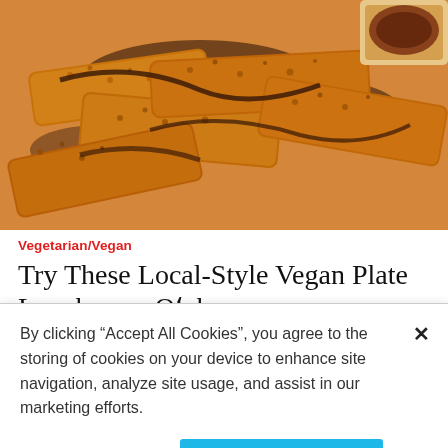[Figure (photo): Close-up photo of crispy breaded fried food strips (vegan fried chicken style) with dark sauce drizzled on top, with a small dipping sauce bowl visible in the upper right corner. Warm golden-brown tones.]
Vegetarian/Vegan
Try These Local-Style Vegan Plate Lunches on Oʻahu
BY ANNABELLE LE JEUNE
By clicking “Accept All Cookies”, you agree to the storing of cookies on your device to enhance site navigation, analyze site usage, and assist in our marketing efforts.
Cookies Settings
Accept All Cookies